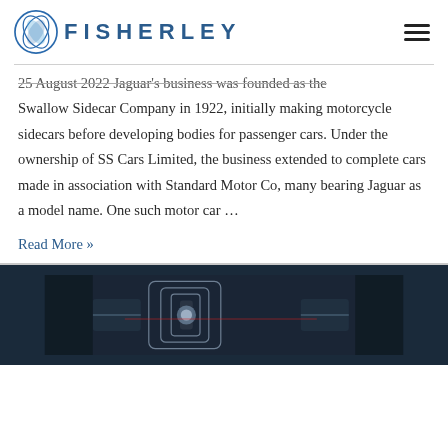FISHERLEY
25 August 2022 Jaguar's business was founded as the Swallow Sidecar Company in 1922, initially making motorcycle sidecars before developing bodies for passenger cars. Under the ownership of SS Cars Limited, the business extended to complete cars made in association with Standard Motor Co, many bearing Jaguar as a model name. One such motor car …
Read More »
[Figure (photo): Dark automotive/car photograph at the bottom of the page, showing stylized car details with blue/silver tones]